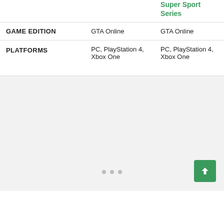|  | Column 1 | Super Sport Series |
| --- | --- | --- |
| GAME EDITION | GTA Online | GTA Online |
| PLATFORMS | PC, PlayStation 4, Xbox One | PC, PlayStation 4, Xbox One |
[Figure (other): Gray image carousel area with three dot indicators and a green back-to-top button in the bottom right corner]